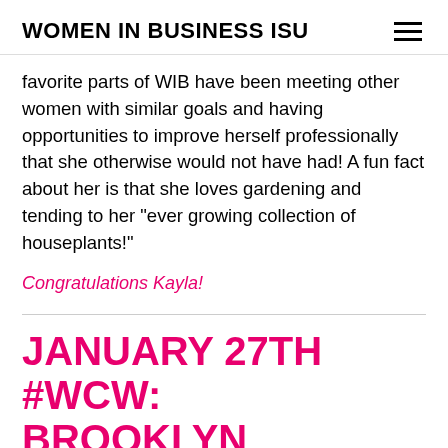WOMEN IN BUSINESS ISU
favorite parts of WIB have been meeting other women with similar goals and having opportunities to improve herself professionally that she otherwise would not have had! A fun fact about her is that she loves gardening and tending to her "ever growing collection of houseplants!"
Congratulations Kayla!
JANUARY 27TH #WCW: BROOKLYN OSWALD